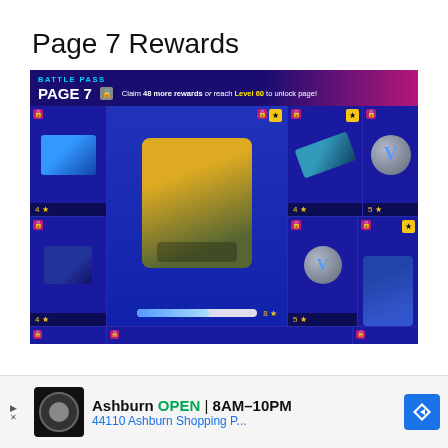Page 7 Rewards
[Figure (screenshot): Fortnite Battle Pass Page 7 screen showing locked rewards grid with character skin, weapon wraps, V-bucks, and glider items. Header reads: BATTLE PASS PAGE 7 [lock icon] Claim 48 more rewards or reach Level 60 to unlock page!]
[Figure (screenshot): Advertisement banner showing: Ashburn OPEN 8AM-10PM, 44110 Ashburn Shopping P... with a restaurant logo and navigation arrow icon]